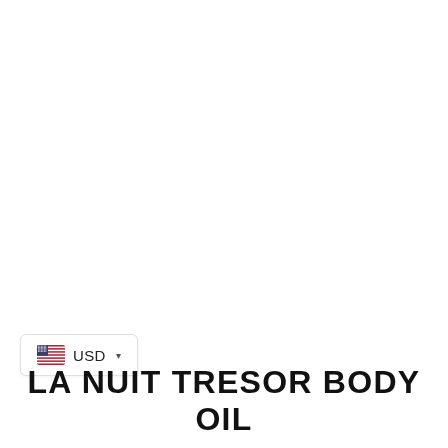[Figure (infographic): Currency selector widget showing US flag icon and USD label with dropdown chevron, displayed in a rounded rectangle border]
LA NUIT TRESOR BODY OIL